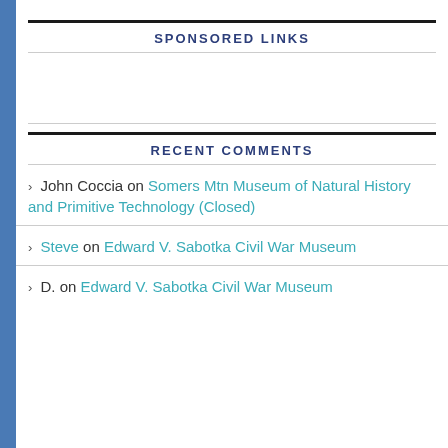SPONSORED LINKS
RECENT COMMENTS
John Coccia on Somers Mtn Museum of Natural History and Primitive Technology (Closed)
Steve on Edward V. Sabotka Civil War Museum
D. on Edward V. Sabotka Civil War Museum